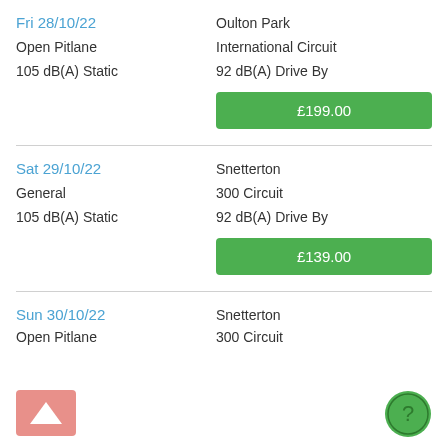Fri 28/10/22
Oulton Park
Open Pitlane
International Circuit
105 dB(A) Static
92 dB(A) Drive By
£199.00
Sat 29/10/22
Snetterton
General
300 Circuit
105 dB(A) Static
92 dB(A) Drive By
£139.00
Sun 30/10/22
Snetterton
Open Pitlane
300 Circuit